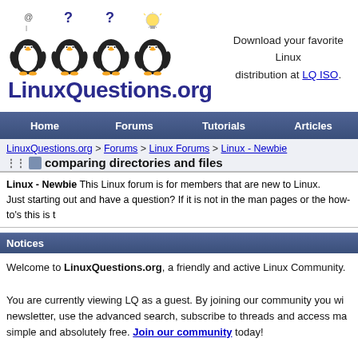[Figure (logo): LinuxQuestions.org logo with four penguins and site name]
Download your favorite Linux distribution at LQ ISO.
[Figure (other): Navigation bar with Home, Forums, Tutorials, Articles]
LinuxQuestions.org > Forums > Linux Forums > Linux - Newbie
comparing directories and files
Linux - Newbie This Linux forum is for members that are new to Linux. Just starting out and have a question? If it is not in the man pages or the how-to's this is t
Notices
Welcome to LinuxQuestions.org, a friendly and active Linux Community.

You are currently viewing LQ as a guest. By joining our community you wi newsletter, use the advanced search, subscribe to threads and access ma simple and absolutely free. Join our community today!